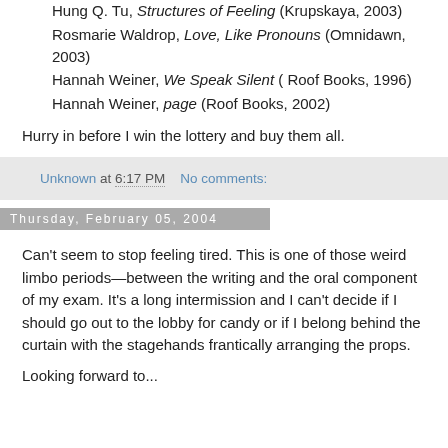Hung Q. Tu, Structures of Feeling (Krupskaya, 2003)
Rosmarie Waldrop, Love, Like Pronouns (Omnidawn, 2003)
Hannah Weiner, We Speak Silent ( Roof Books, 1996)
Hannah Weiner, page (Roof Books, 2002)
Hurry in before I win the lottery and buy them all.
Unknown at 6:17 PM    No comments:
Thursday, February 05, 2004
Can't seem to stop feeling tired. This is one of those weird limbo periods—between the writing and the oral component of my exam. It's a long intermission and I can't decide if I should go out to the lobby for candy or if I belong behind the curtain with the stagehands frantically arranging the props.
Looking forward to...